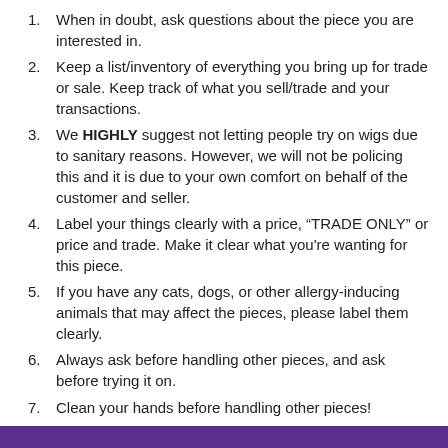1. When in doubt, ask questions about the piece you are interested in.
2. Keep a list/inventory of everything you bring up for trade or sale. Keep track of what you sell/trade and your transactions.
3. We HIGHLY suggest not letting people try on wigs due to sanitary reasons. However, we will not be policing this and it is due to your own comfort on behalf of the customer and seller.
4. Label your things clearly with a price, “TRADE ONLY” or price and trade. Make it clear what you're wanting for this piece.
5. If you have any cats, dogs, or other allergy-inducing animals that may affect the pieces, please label them clearly.
6. Always ask before handling other pieces, and ask before trying it on.
7. Clean your hands before handling other pieces!